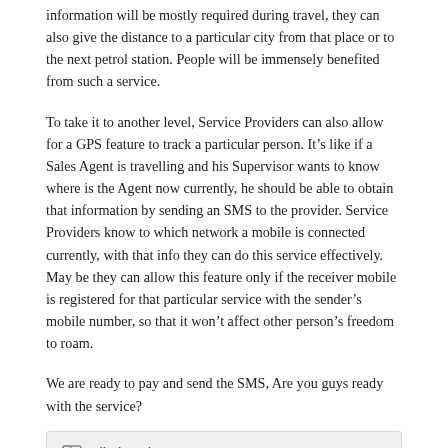information will be mostly required during travel, they can also give the distance to a particular city from that place or to the next petrol station. People will be immensely benefited from such a service.
To take it to another level, Service Providers can also allow for a GPS feature to track a particular person. It’s like if a Sales Agent is travelling and his Supervisor wants to know where is the Agent now currently, he should be able to obtain that information by sending an SMS to the provider. Service Providers know to which network a mobile is connected currently, with that info they can do this service effectively. May be they can allow this feature only if the receiver mobile is registered for that particular service with the sender’s mobile number, so that it won’t affect other person’s freedom to roam.
We are ready to pay and send the SMS, Are you guys ready with the service?
Filed Under: Strategy
Speak Your Mind